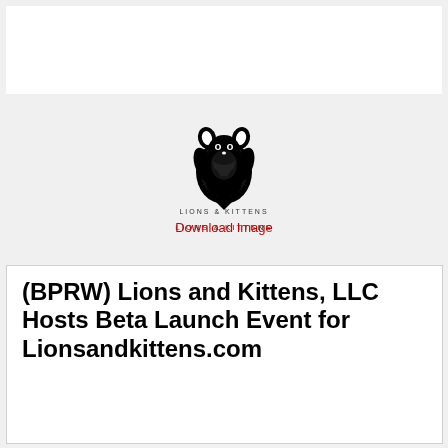[Figure (logo): Lions & Kittens logo — a stylized lion/cat head crest in black with the text 'LIONS & KITTENS' underneath]
Download Image
(BPRW) Lions and Kittens, LLC Hosts Beta Launch Event for Lionsandkittens.com